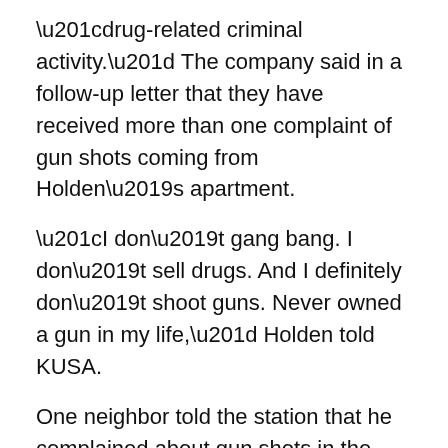“drug-related criminal activity.” The company said in a follow-up letter that they have received more than one complaint of gun shots coming from Holden’s apartment.
“I don’t gang bang. I don’t sell drugs. And I definitely don’t shoot guns. Never owned a gun in my life,” Holden told KUSA.
One neighbor told the station that he complained about gun shots in the community, but the gunfire came from a different address. After conducting an online search of police records, the news station did not find any criminal reports tied to Holden’s address.
“It’s frustrating,” she said. “I want to see the proof.”